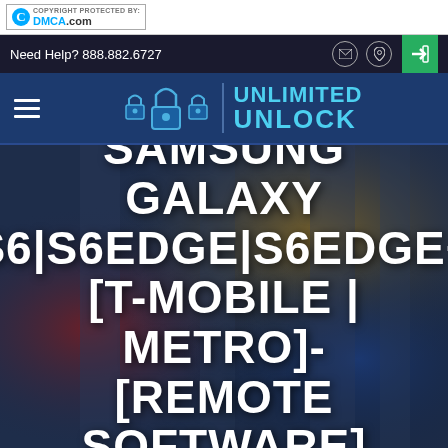[Figure (logo): DMCA.com copyright protection badge with cyan C logo]
Need Help? 888.882.6727
[Figure (logo): Unlimited Unlock logo with padlock icons and brand name in cyan text]
SAMSUNG GALAXY S6|S6EDGE|S6EDGE+ [T-MOBILE | METRO]- [REMOTE SOFTWARE]